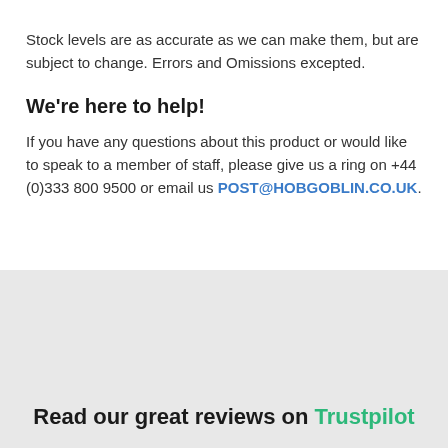Stock levels are as accurate as we can make them, but are subject to change. Errors and Omissions excepted.
We're here to help!
If you have any questions about this product or would like to speak to a member of staff, please give us a ring on +44 (0)333 800 9500 or email us POST@HOBGOBLIN.CO.UK.
Read our great reviews on Trustpilot